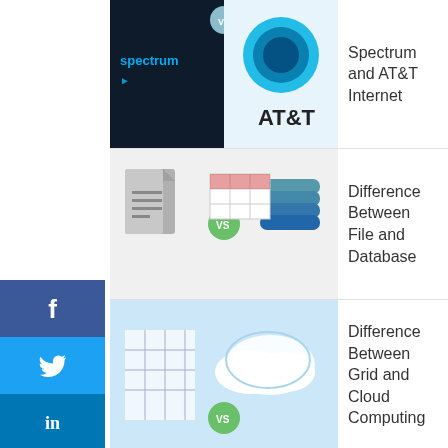[Figure (illustration): Spectrum vs AT&T Internet thumbnail showing both logos]
Spectrum and AT&T Internet
[Figure (illustration): File vs Database comparison thumbnail]
Difference Between File and Database
[Figure (illustration): Grid vs Cloud Computing thumbnail]
Difference Between Grid and Cloud Computing
[Figure (illustration): Instant Messaging and Chat brain icon thumbnail]
Difference Between Instant Messaging and Chat
[Figure (illustration): Mission and Vision Statement light bulb thumbnail]
Difference Between Mission and Vision Statement